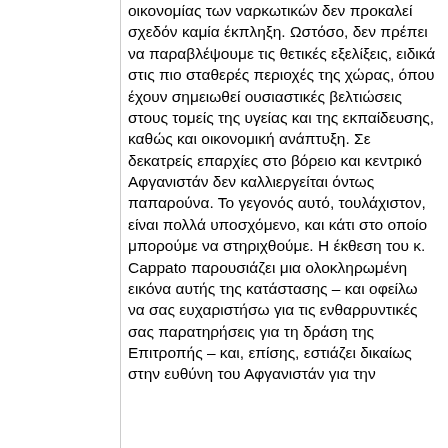οικονομίας των ναρκωτικών δεν προκαλεί σχεδόν καμία έκπληξη. Ωστόσο, δεν πρέπει να παραβλέψουμε τις θετικές εξελίξεις, ειδικά στις πιο σταθερές περιοχές της χώρας, όπου έχουν σημειωθεί ουσιαστικές βελτιώσεις στους τομείς της υγείας και της εκπαίδευσης, καθώς και οικονομική ανάπτυξη. Σε δεκατρείς επαρχίες στο βόρειο και κεντρικό Αφγανιστάν δεν καλλιεργείται όντως παπαρούνα. Το γεγονός αυτό, τουλάχιστον, είναι πολλά υποσχόμενο, και κάτι στο οποίο μπορούμε να στηριχθούμε. Η έκθεση του κ. Cappato παρουσιάζει μια ολοκληρωμένη εικόνα αυτής της κατάστασης – και οφείλω να σας ευχαριστήσω για τις ενθαρρυντικές σας παρατηρήσεις για τη δράση της Επιτροπής – και, επίσης, εστιάζει δικαίως στην ευθύνη του Αφγανιστάν για την